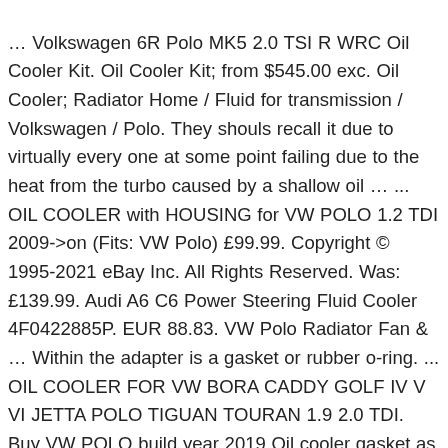… Volkswagen 6R Polo MK5 2.0 TSI R WRC Oil Cooler Kit. Oil Cooler Kit; from $545.00 exc. Oil Cooler; Radiator Home / Fluid for transmission / Volkswagen / Polo. They shouls recall it due to virtually every one at some point failing due to the heat from the turbo caused by a shallow oil … ... OIL COOLER with HOUSING for VW POLO 1.2 TDI 2009->on (Fits: VW Polo) £99.99. Copyright © 1995-2021 eBay Inc. All Rights Reserved. Was: £139.99. Audi A6 C6 Power Steering Fluid Cooler 4F0422885P. EUR 88.83. VW Polo Radiator Fan & … Within the adapter is a gasket or rubber o-ring. ... OIL COOLER FOR VW BORA CADDY GOLF IV V VI JETTA POLO TIGUAN TOURAN 1.9 2.0 TDI. Buy VW POLO build year 2019 Oil cooler gasket as well as other car parts for POLO 2019 at discount prices directly from the warehouse Oil Cooler Kit; from